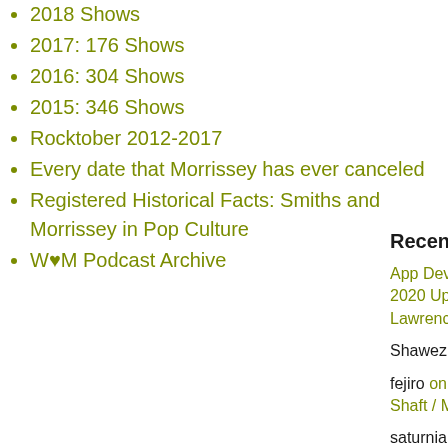2018 Shows
2017: 176 Shows
2016: 304 Shows
2015: 346 Shows
Rocktober 2012-2017
Every date that Morrissey has ever canceled
Registered Historical Facts: Smiths and Morrissey in Pop Culture
W♥M Podcast Archive
Recent Comm
App Developm 2020 Upcoming Lawrence, KS)
Shawez on At th
fejiro on We♥M Shaft / Men in B
saturnia coryba 2020
saturnia coryba 2020
saturnia coryba 2020